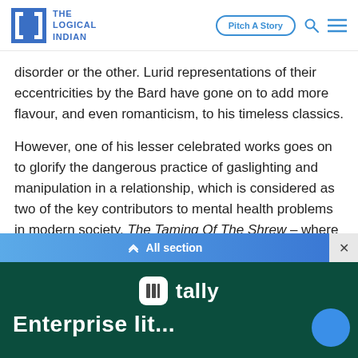THE LOGICAL INDIAN | Pitch A Story
disorder or the other. Lurid representations of their eccentricities by the Bard have gone on to add more flavour, and even romanticism, to his timeless classics.
However, one of his lesser celebrated works goes on to glorify the dangerous practice of gaslighting and manipulation in a relationship, which is considered as two of the key contributors to mental health problems in modern society. The Taming Of The Shrew – where a proud and snobbish Katherina is 'schooled' to become a gentle, obedient wife by a highly manipulative Petruchio – reeks of misogyny in every aspect.
[Figure (other): All section navigation bar with close button]
[Figure (other): Tally advertisement banner with dark green background]